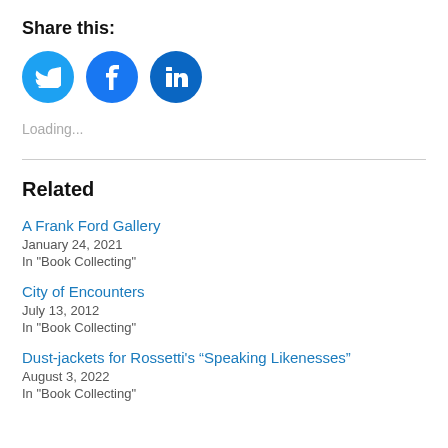Share this:
[Figure (infographic): Three social media share buttons as colored circles: Twitter (cyan-blue with bird icon), Facebook (blue with f icon), LinkedIn (dark blue with 'in' icon)]
Loading...
Related
A Frank Ford Gallery
January 24, 2021
In "Book Collecting"
City of Encounters
July 13, 2012
In "Book Collecting"
Dust-jackets for Rossetti's “Speaking Likenesses”
August 3, 2022
In "Book Collecting"